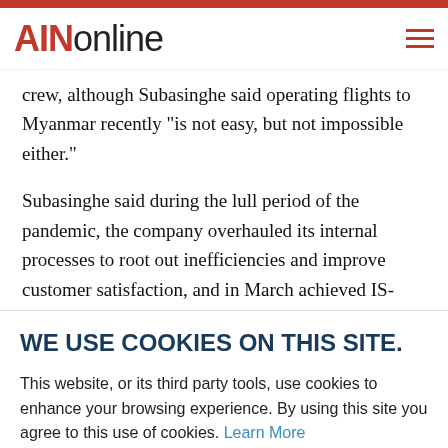AINonline
crew, although Subasinghe said operating flights to Myanmar recently "is not easy, but not impossible either."
Subasinghe said during the lull period of the pandemic, the company overhauled its internal processes to root out inefficiencies and improve customer satisfaction, and in March achieved IS-BAH accreditation for its services in
WE USE COOKIES ON THIS SITE.
This website, or its third party tools, use cookies to enhance your browsing experience. By using this site you agree to this use of cookies. Learn More
ACCEPT